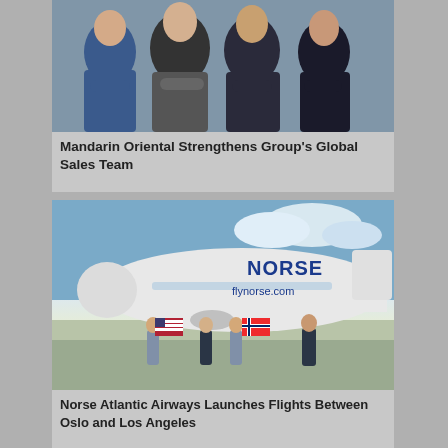[Figure (photo): Group photo of four business professionals in formal attire with arms crossed, posing together indoors.]
Mandarin Oriental Strengthens Group's Global Sales Team
[Figure (photo): Norse Atlantic Airways Boeing 787 aircraft on tarmac with people holding American and Norwegian flags in front of the plane. flynorse.com text visible on fuselage.]
Norse Atlantic Airways Launches Flights Between Oslo and Los Angeles